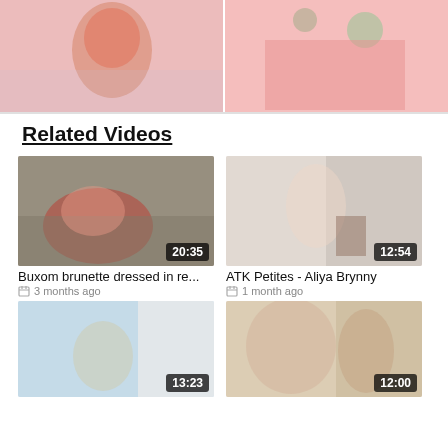[Figure (photo): Two video thumbnails at top: left shows a young woman with red hair against a pink background; right shows a close-up with butterfly decorations on wall]
Related Videos
[Figure (photo): Video thumbnail: Buxom brunette dressed in red lingerie on bed, duration 20:35]
Buxom brunette dressed in re...
3 months ago
[Figure (photo): Video thumbnail: ATK Petites - Aliya Brynny, duration 12:54]
ATK Petites - Aliya Brynny
1 month ago
[Figure (photo): Video thumbnail: blonde woman in teal robe, duration 13:23]
[Figure (photo): Video thumbnail: couple in living room, duration 12:00]